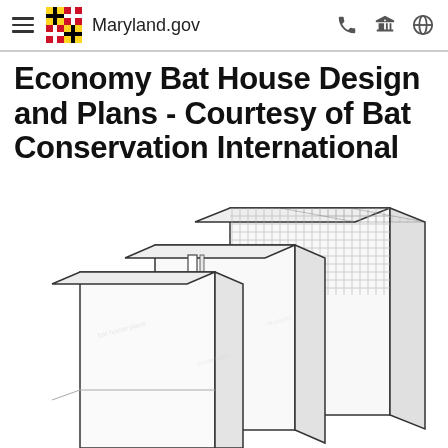Maryland.gov
Economy Bat House Design and Plans - Courtesy of Bat Conservation International
[Figure (engineering-diagram): Exploded isometric engineering diagram of an economy bat house showing three layered wooden panels with mesh/screen material on the top panel, illustrating the construction components of the bat house.]